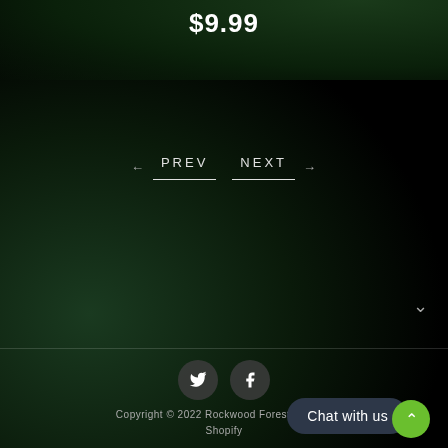$9.99
[Figure (screenshot): Dark forest/foliage background image with navigation controls]
← PREV   NEXT →
ˇ
Twitter icon, Facebook icon
Copyright © 2022 Rockwood Forest Nu... by Shopify
Chat with us